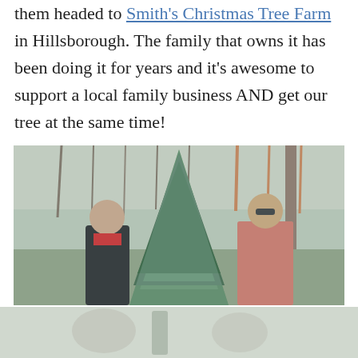them headed to Smith's Christmas Tree Farm in Hillsborough. The family that owns it has been doing it for years and it's awesome to support a local family business AND get our tree at the same time!
[Figure (photo): A couple standing on either side of a large evergreen Christmas tree at an outdoor tree farm. The woman on the left wears a black jacket and red scarf; the man on the right wears a red plaid shirt and sunglasses. Bare winter trees and grass visible in background.]
[Figure (photo): Partial/faded image visible at the bottom of the page, appearing to show figures near Christmas trees.]